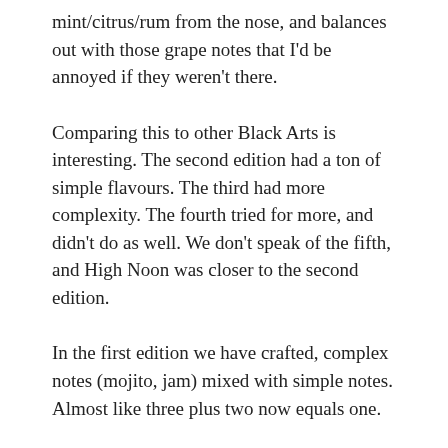mint/citrus/rum from the nose, and balances out with those grape notes that I'd be annoyed if they weren't there.
Comparing this to other Black Arts is interesting. The second edition had a ton of simple flavours. The third had more complexity. The fourth tried for more, and didn't do as well. We don't speak of the fifth, and High Noon was closer to the second edition.
In the first edition we have crafted, complex notes (mojito, jam) mixed with simple notes. Almost like three plus two now equals one.
Take that mathematicians!